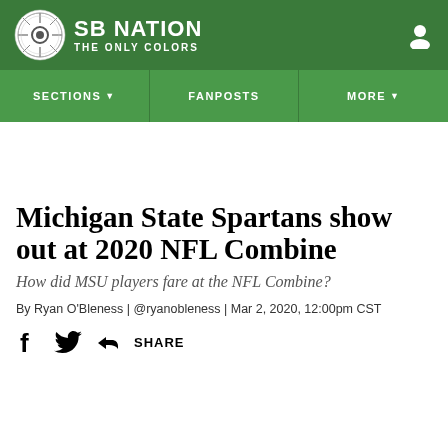SB NATION | THE ONLY COLORS
Michigan State Spartans show out at 2020 NFL Combine
How did MSU players fare at the NFL Combine?
By Ryan O'Bleness | @ryanobleness | Mar 2, 2020, 12:00pm CST